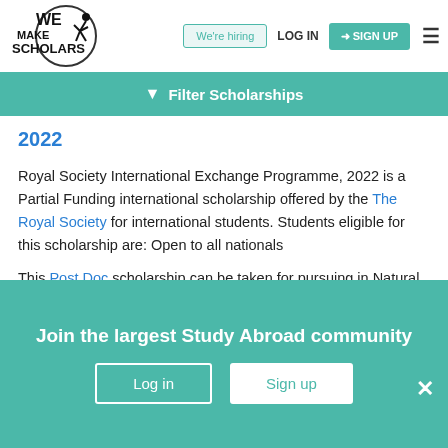[Figure (logo): We Make Scholars logo with circular icon and text]
We're hiring | LOG IN | SIGN UP
Filter Scholarships
2022
Royal Society International Exchange Programme, 2022 is a Partial Funding international scholarship offered by the The Royal Society for international students. Students eligible for this scholarship are: Open to all nationals
This Post Doc scholarship can be taken for pursuing in Natural Sciences. 28 Sep is the deadline to send
Join the largest Study Abroad community
Log in | Sign up